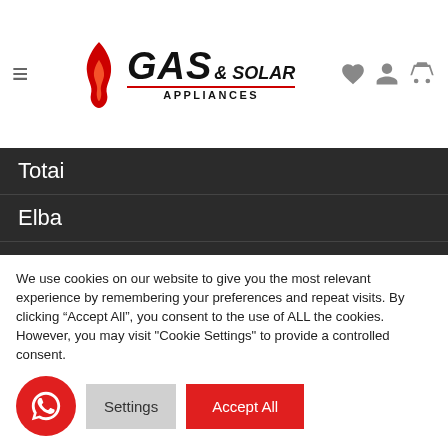Gas & Solar Appliances — navigation header with logo and icons
Totai
Elba
AEG
Meireles
Zero Appliances
SnoMaster
Dew Hot
We use cookies on our website to give you the most relevant experience by remembering your preferences and repeat visits. By clicking "Accept All", you consent to the use of ALL the cookies. However, you may visit "Cookie Settings" to provide a controlled consent.